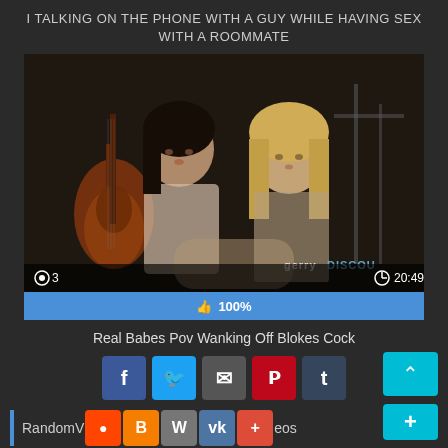I TALKING ON THE PHONE WITH A GUY WHILE HAVING SEX WITH A ROOMMATE
[Figure (screenshot): Video thumbnail showing two women in a studio setting with a guitar visible in background. Overlay bar shows 3 views and 20:49 duration. Watermark reads 'gerryDISCOU'. Like bar shows 100%.]
Real Babes Pov Wanking Off Blokes Cock
[Figure (infographic): Social share buttons row: Facebook, Twitter, Email, Pinterest, Tumblr. Scroll-to-top button on right.]
Random Videos
[Figure (infographic): Social share buttons row: Reddit, Blogger, WordPress, VK, Google+. Plus button on right.]